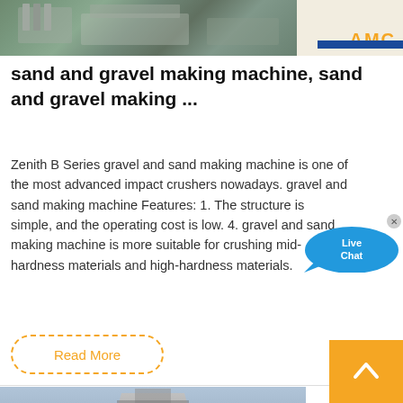[Figure (photo): Industrial machinery / sand and gravel making machine facility with AMC logo visible in top right]
sand and gravel making machine, sand and gravel making ...
Zenith B Series gravel and sand making machine is one of the most advanced impact crushers nowadays. gravel and sand making machine Features: 1. The structure is simple, and the operating cost is low. 4. gravel and sand making machine is more suitable for crushing mid-hardness materials and high-hardness materials.
[Figure (illustration): Live Chat bubble overlay on the right side]
Read More
[Figure (photo): Industrial equipment/scaffolding against blue sky — second article image]